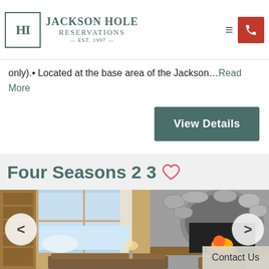Jackson Hole Reservations — Est. 1997
only).• Located at the base area of the Jackson… Read More
View Details
Four Seasons 2 3
[Figure (photo): Interior of a log cabin with stone fireplace and living area]
Contact Us